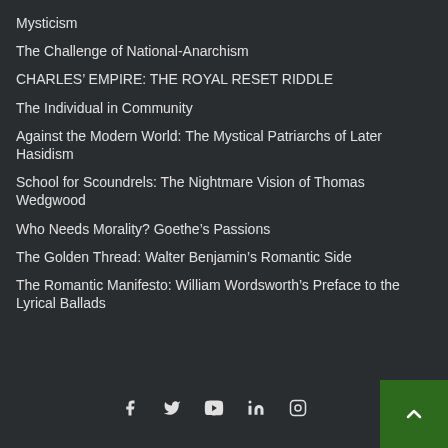Mysticism
The Challenge of National-Anarchism
CHARLES’ EMPIRE: THE ROYAL RESET RIDDLE
The Individual in Community
Against the Modern World: The Mystical Patriarchs of Later Hasidism
School for Scoundrels: The Nightmare Vision of Thomas Wedgwood
Who Needs Morality? Goethe’s Passions
The Golden Thread: Walter Benjamin’s Romantic Side
The Romantic Manifesto: William Wordsworth’s Preface to the Lyrical Ballads
Social icons: f, Twitter, YouTube, LinkedIn, Instagram; Back to top button